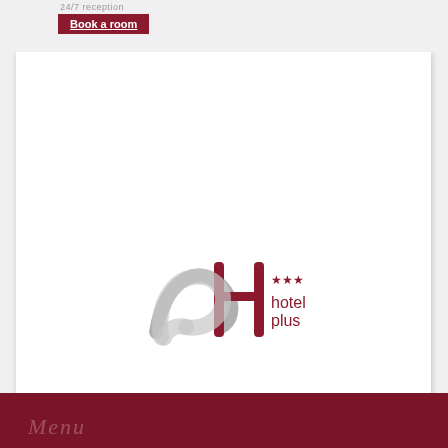24/7 reception
Book a room
[Figure (logo): Hotel Plus logo — stylized H in dark red and gray with three stars, text 'hotel plus' in dark red]
Menu